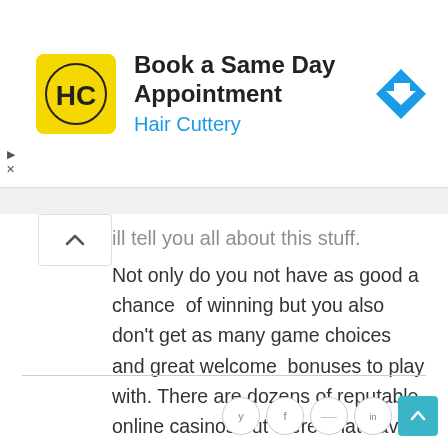[Figure (screenshot): Hair Cuttery advertisement banner: logo (HC in circle on yellow background), bold text 'Book a Same Day Appointment', blue subtext 'Hair Cuttery', blue diamond direction arrow icon on right. Small play and X controls on far left.]
ill tell you all about this stuff.
Not only do you not have as good a chance of winning but you also don't get as many game choices and great welcome bonuses to play with. There are dozens of reputable online casinos out there that have dozens more software providers providing thousands of games and experiences. OLG online casino simply can't compete with that. Bottom line is that you had best educate yourself on where to spend your hard earned money before blindly giving it up to good ol' OLG.
[Figure (infographic): Social sharing icons row: Twitter (y), Facebook (f), Pinterest (p), LinkedIn (in) circle buttons, and a teal scroll-to-top arrow button.]